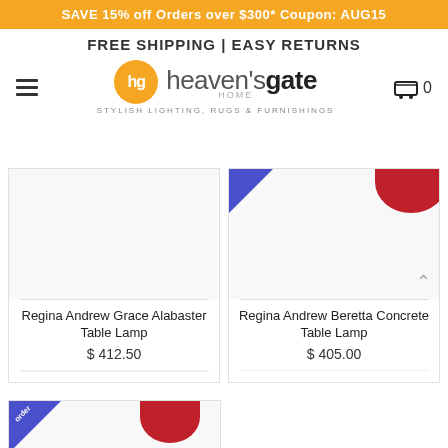SAVE 15% off Orders over $300* Coupon: AUG15
FREE SHIPPING | EASY RETURNS
[Figure (logo): Heaven's Gate Home logo with orange circle HG badge and tagline STYLISH LIGHTING, RUGS & FURNISHINGS]
[Figure (photo): Regina Andrew Grace Alabaster Table Lamp product image]
Regina Andrew Grace Alabaster Table Lamp
$ 412.50
[Figure (photo): Regina Andrew Beretta Concrete Table Lamp product image with red shade visible]
Regina Andrew Beretta Concrete Table Lamp
$ 405.00
[Figure (photo): Partial third product card with blue order badge and red lamp shade partially visible]